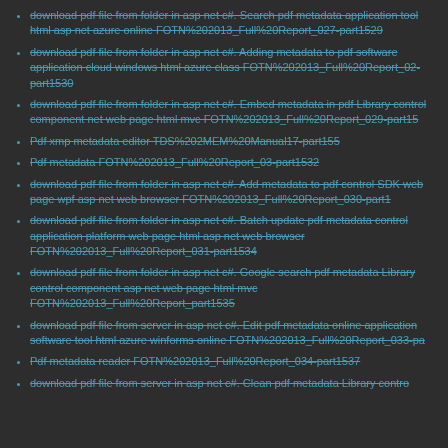download pdf file from folder in asp net c#. Search pdf metadata application tool html asp net azure online FOTN%202013_Full%20Report_027-part1529
download pdf file from folder in asp net c#. Adding metadata to pdf software application cloud windows html azure class FOTN%202013_Full%20Report_02-part1530
download pdf file from folder in asp net c#. Embed metadata in pdf Library control component net web page html mvc FOTN%202013_Full%20Report_029-part15
Pdf xmp metadata editor TDS%202MEM%20Manual17-part155
Pdf metadata FOTN%202013_Full%20Report_03-part1532
download pdf file from folder in asp net c#. Add metadata to pdf control SDK web page wpf asp net web browser FOTN%202013_Full%20Report_030-part1
download pdf file from folder in asp net c#. Batch update pdf metadata control application platform web page html asp net web browser FOTN%202013_Full%20Report_031-part1534
download pdf file from folder in asp net c#. Google search pdf metadata Library control component asp net web page html mvc FOTN%202013_Full%20Report_part1535
download pdf file from server in asp net c#. Edit pdf metadata online application software tool html azure winforms online FOTN%202013_Full%20Report_033-pa
Pdf metadata reader FOTN%202013_Full%20Report_034-part1537
download pdf file from server in asp net c#. Clean pdf metadata Library contro